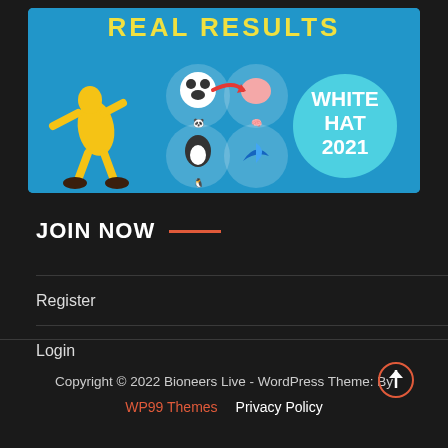[Figure (illustration): Banner image with blue background, cartoon yellow character, panda, penguin, brain and social media icons, and 'WHITE HAT 2021' text in teal circle. Text 'REAL RESULTS' in yellow at top.]
JOIN NOW
Register
Login
Copyright © 2022 Bioneers Live - WordPress Theme: By WP99 Themes  Privacy Policy